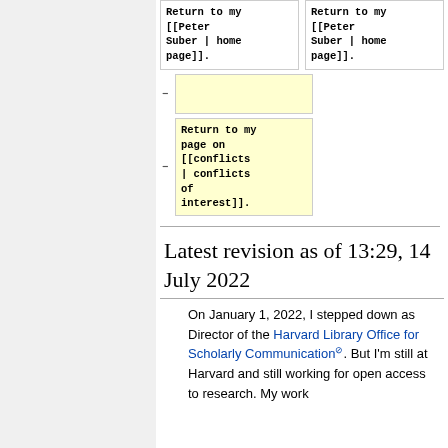| Return to my [[Peter Suber | home page]]. | Return to my [[Peter Suber | home page]]. |
| − | Return to my page on [[conflicts | conflicts of interest]]. |
Latest revision as of 13:29, 14 July 2022
On January 1, 2022, I stepped down as Director of the Harvard Library Office for Scholarly Communication. But I'm still at Harvard and still working for open access to research. My work